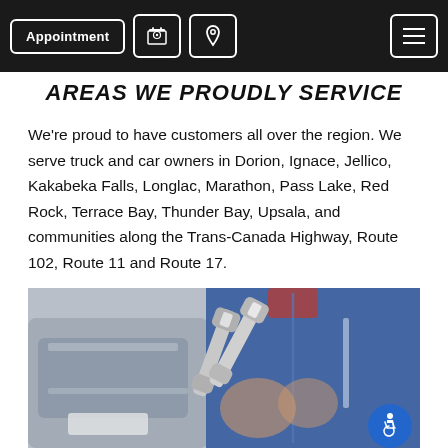Appointment | Phone | Location | Menu
AREAS WE PROUDLY SERVICE
We're proud to have customers all over the region. We serve truck and car owners in Dorion, Ignace, Jellico, Kakabeka Falls, Longlac, Marathon, Pass Lake, Red Rock, Terrace Bay, Thunder Bay, Upsala, and communities along the Trans-Canada Highway, Route 102, Route 11 and Route 17.
[Figure (photo): A mechanic in a blue uniform holding two wrenches crossed over their chest, with a car hood open and blurred in the background. An accessibility badge (wheelchair icon) is visible in the bottom right corner.]